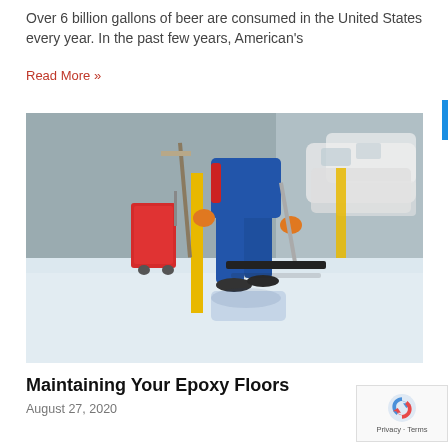Over 6 billion gallons of beer are consumed in the United States every year. In the past few years, American's
Read More »
[Figure (photo): Worker in blue overalls mopping or squeegeeing an epoxy floor in a commercial garage setting, with a red cleaning cart and yellow poles visible, and white cars blurred in the background.]
Maintaining Your Epoxy Floors
August 27, 2020